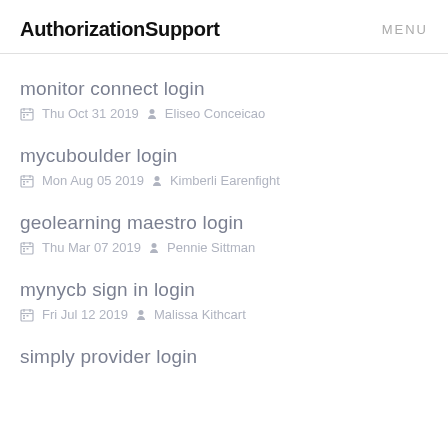AuthorizationSupport   MENU
monitor connect login
Thu Oct 31 2019  Eliseo Conceicao
mycuboulder login
Mon Aug 05 2019  Kimberli Earenfight
geolearning maestro login
Thu Mar 07 2019  Pennie Sittman
mynycb sign in login
Fri Jul 12 2019  Malissa Kithcart
simply provider login